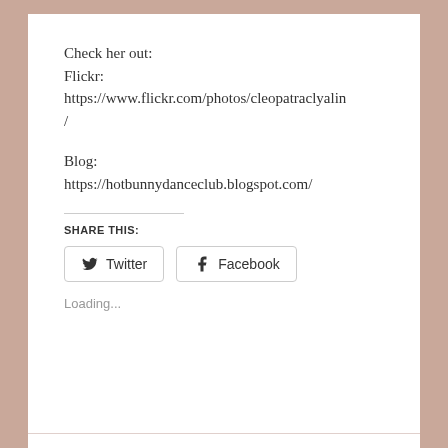Check her out:
Flickr:
https://www.flickr.com/photos/cleopatraclyalin/

Blog:
https://hotbunnydanceclub.blogspot.com/
SHARE THIS:
Twitter  Facebook
Loading...